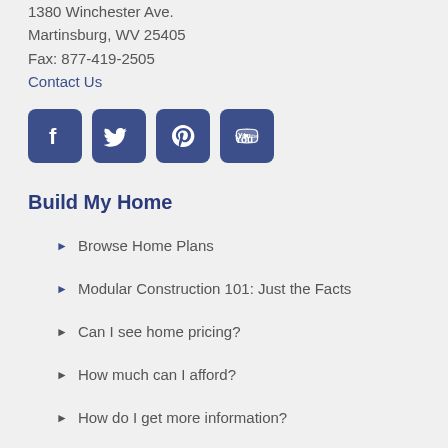1380 Winchester Ave.
Martinsburg, WV 25405
Fax: 877-419-2505
Contact Us
[Figure (illustration): Social media icons: Facebook, Twitter, Pinterest, YouTube — all in dark blue/navy rounded square buttons]
Build My Home
Browse Home Plans
Modular Construction 101: Just the Facts
Can I see home pricing?
How much can I afford?
How do I get more information?